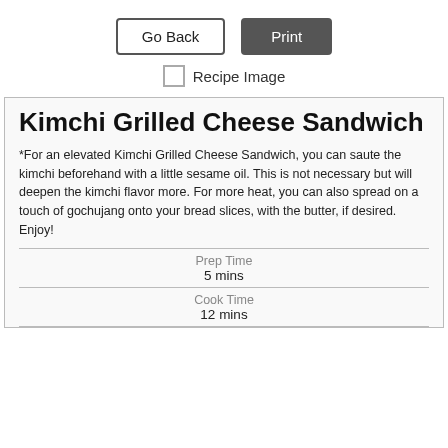Go Back
Print
Recipe Image
Kimchi Grilled Cheese Sandwich
*For an elevated Kimchi Grilled Cheese Sandwich, you can saute the kimchi beforehand with a little sesame oil. This is not necessary but will deepen the kimchi flavor more. For more heat, you can also spread on a touch of gochujang onto your bread slices, with the butter, if desired. Enjoy!
Prep Time
5 mins
Cook Time
12 mins